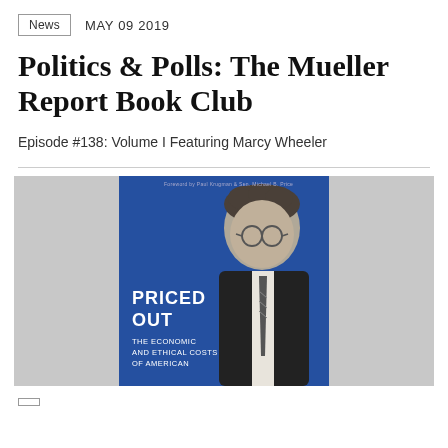News   MAY 09 2019
Politics & Polls: The Mueller Report Book Club
Episode #138: Volume I Featuring Marcy Wheeler
[Figure (photo): Book cover of 'Priced Out: The Economic and Ethical Costs of American...' showing a black-and-white photo of a man wearing glasses and a suit, with a blue background.]